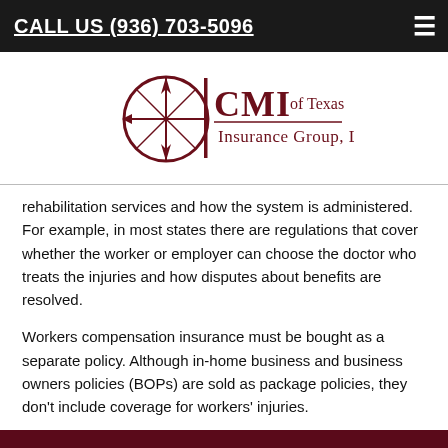CALL US (936) 703-5096
[Figure (logo): CMI of Texas Insurance Group, LLC logo with compass rose graphic]
rehabilitation services and how the system is administered. For example, in most states there are regulations that cover whether the worker or employer can choose the doctor who treats the injuries and how disputes about benefits are resolved.
Workers compensation insurance must be bought as a separate policy. Although in-home business and business owners policies (BOPs) are sold as package policies, they don't include coverage for workers' injuries.
[Figure (illustration): Accessibility icon - person in circle with blue border]